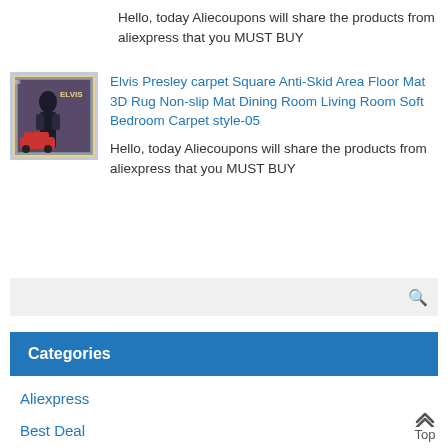Hello, today Aliecoupons will share the products from aliexpress that you MUST BUY
[Figure (photo): Product image of an Elvis Presley themed carpet/rug]
Elvis Presley carpet Square Anti-Skid Area Floor Mat 3D Rug Non-slip Mat Dining Room Living Room Soft Bedroom Carpet style-05
Hello, today Aliecoupons will share the products from aliexpress that you MUST BUY
Categories
Aliexpress
Best Deal